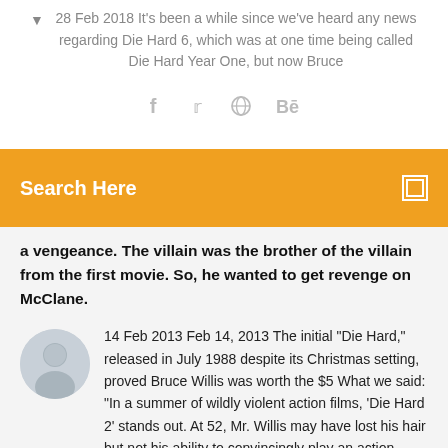28 Feb 2018 It's been a while since we've heard any news regarding Die Hard 6, which was at one time being called Die Hard Year One, but now Bruce
[Figure (infographic): Social media share icons: Facebook (f), Twitter (bird), Dribbble (circle), Behance (Be)]
Search Here
a vengeance. The villain was the brother of the villain from the first movie. So, he wanted to get revenge on McClane.
14 Feb 2013 Feb 14, 2013 The initial "Die Hard," released in July 1988 despite its Christmas setting, proved Bruce Willis was worth the $5 What we said: "In a summer of wildly violent action films, 'Die Hard 2' stands out. At 52, Mr. Willis may have lost his hair but not his ability to convincingly play an action hero.